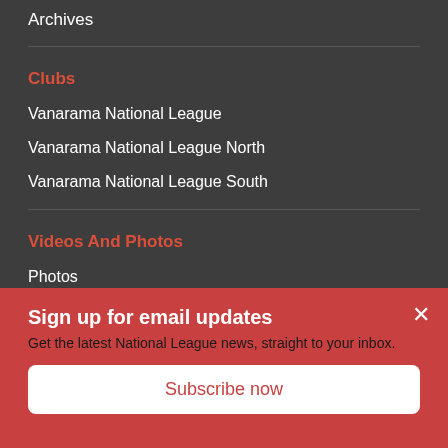Archives
Clubs
Vanarama National League
Vanarama National League North
Vanarama National League South
Videos And Photos
Photos
Videos
Information
Contacts
Sign up for email updates
Get the latest National League news, straight to your inbox.
Subscribe now